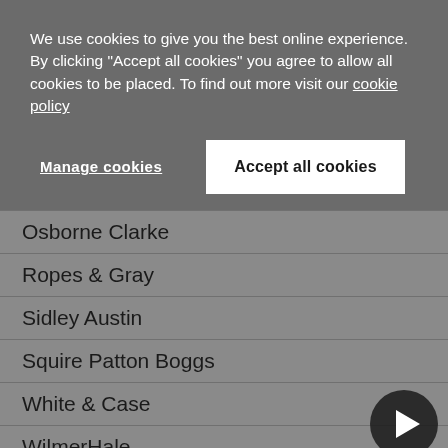We use cookies to give you the best online experience. By clicking "Accept all cookies" you agree to allow all cookies to be placed. To find out more visit our cookie policy
Manage cookies
Accept all cookies
Osborne Clarke
Ropes & Gray
Sidley Austin
Squire Patton Boggs
White & Case
WilmerHale